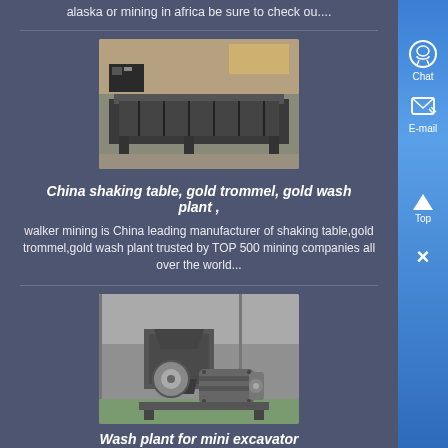alaska or mining in africa be sure to check ou....
[Figure (photo): Industrial shaking table / gold processing equipment in a factory setting]
China shaking table, gold trommel, gold wash plant , walker mining is China leading manufacturer of shaking table,gold trommel,gold wash plant trusted by TOP 500 mining companies all over the world...
[Figure (photo): Wash plant / crusher machine for mini excavator in a factory setting]
Wash plant for mini excavator Dec 31, 2013 0183 32 Wash plant for mini excavator Sign in to follow this , Its made by the folks who build the gold claimer and